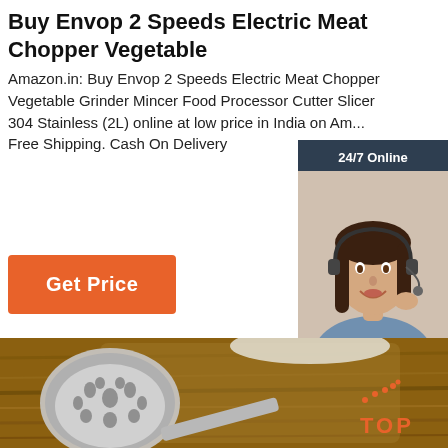Buy Envop 2 Speeds Electric Meat Chopper Vegetable
Amazon.in: Buy Envop 2 Speeds Electric Meat Chopper Vegetable Grinder Mincer Food Processor Cutter Slicer 304 Stainless (2L) online at low price in India on Ame... Free Shipping. Cash On Delivery
[Figure (photo): Customer service representative woman with headset, chat widget overlay with '24/7 Online', 'Click here for free chat!', and QUOTATION button]
Get Price
[Figure (photo): Kitchen cutting board with a stainless steel strainer/slicer tool on wooden surface. TOP logo visible in bottom right corner.]